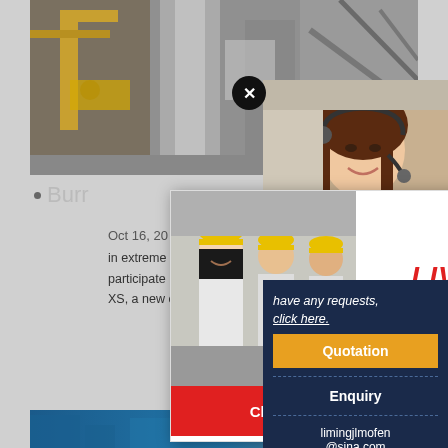[Figure (photo): Industrial factory interior with large machinery, columns, pipes and equipment in gray/yellow tones]
[Figure (screenshot): Live chat popup overlay with construction workers photo on left, 'LIVE CHAT - Click for a Free Consultation' text on right, Chat now (red) and Chat later (dark) buttons at bottom]
[Figure (photo): Customer service representative woman wearing headset, smiling, on right side with dark navy sidebar showing Quotation, Enquiry, and email contact options]
Burr
Oct 16, 20
in extreme car racing madness it customize, improve... participate in this extreme adventure have fun with B... XS, a new car driving game with 3D graphics he...
CHAT ONLINE
have any requests, click here.
Quotation
Enquiry
limingjlmofen@sina.com